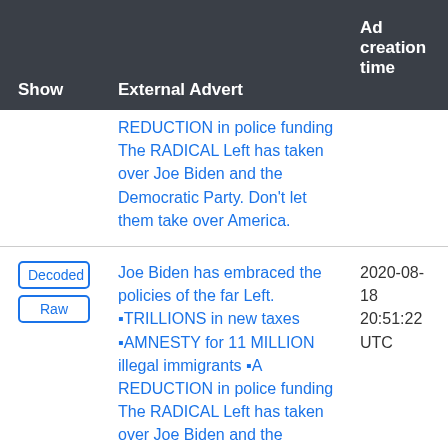| Show | External Advert | Ad creation time |
| --- | --- | --- |
|  | REDUCTION in police funding The RADICAL Left has taken over Joe Biden and the Democratic Party. Don't let them take over America. |  |
| Decoded
Raw | Joe Biden has embraced the policies of the far Left. •TRILLIONS in new taxes •AMNESTY for 11 MILLION illegal immigrants •A REDUCTION in police funding The RADICAL Left has taken over Joe Biden and the Democratic Party. Don't let | 2020-08-18 20:51:22 UTC |